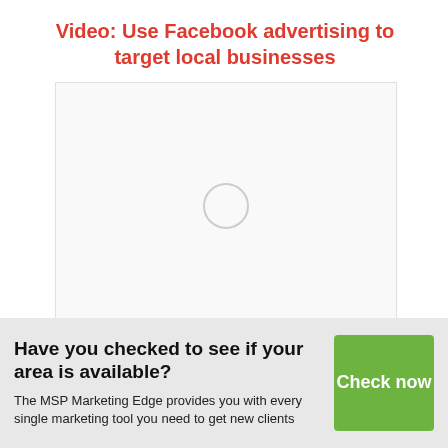Video: Use Facebook advertising to target local businesses
[Figure (other): Blank video player area with a circular play button outline in the center]
Have you checked to see if your area is available?
The MSP Marketing Edge provides you with every single marketing tool you need to get new clients
Check now